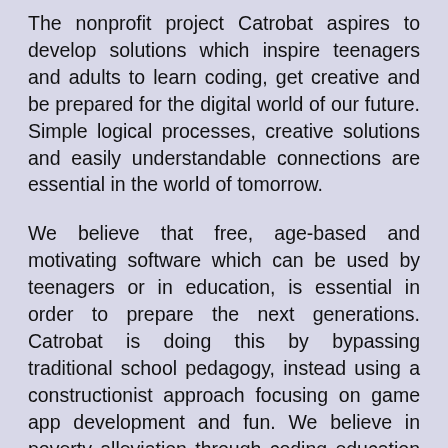The nonprofit project Catrobat aspires to develop solutions which inspire teenagers and adults to learn coding, get creative and be prepared for the digital world of our future. Simple logical processes, creative solutions and easily understandable connections are essential in the world of tomorrow.
We believe that free, age-based and motivating software which can be used by teenagers or in education, is essential in order to prepare the next generations. Catrobat is doing this by bypassing traditional school pedagogy, instead using a constructionist approach focusing on game app development and fun. We believe in poverty alleviation through coding education for teens – girls in particular, refugees, and teens in developing countries, directly on their personal smartphones. This is especially important in less